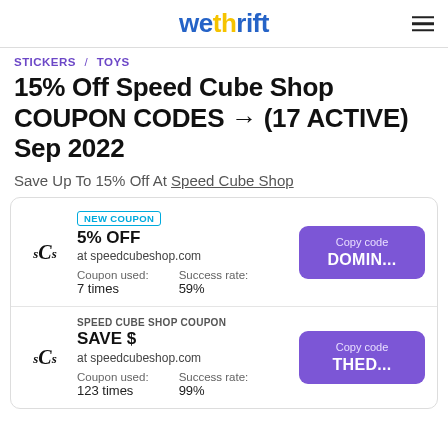wethrift
STICKERS / TOYS
15% Off Speed Cube Shop COUPON CODES → (17 ACTIVE) Sep 2022
Save Up To 15% Off At Speed Cube Shop
| Coupon | Details | Code |
| --- | --- | --- |
| sCs | NEW COUPON
5% OFF
at speedcubeshop.com
Coupon used: 7 times
Success rate: 59% | Copy code
DOMIN... |
| sCs | SPEED CUBE SHOP COUPON
SAVE $
at speedcubeshop.com
Coupon used: 123 times
Success rate: 99% | Copy code
THED... |